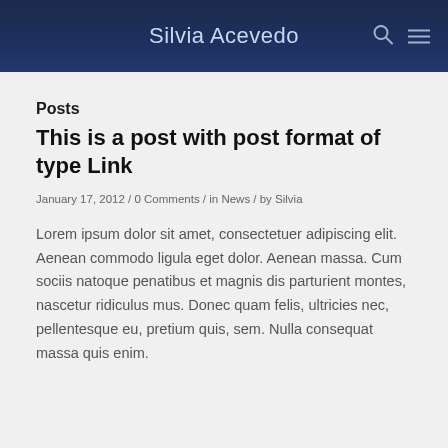Silvia Acevedo
Posts
This is a post with post format of type Link
January 17, 2012 / 0 Comments / in News / by Silvia
Lorem ipsum dolor sit amet, consectetuer adipiscing elit. Aenean commodo ligula eget dolor. Aenean massa. Cum sociis natoque penatibus et magnis dis parturient montes, nascetur ridiculus mus. Donec quam felis, ultricies nec, pellentesque eu, pretium quis, sem. Nulla consequat massa quis enim.